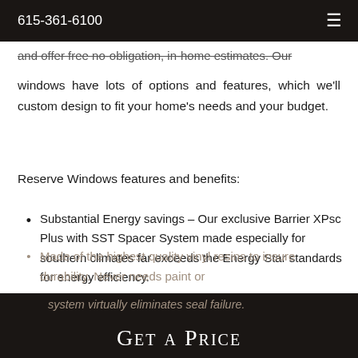615-361-6100
and offer free no-obligation, in-home estimates. Our windows have lots of options and features, which we'll custom design to fit your home's needs and your budget.
Reserve Windows features and benefits:
Substantial Energy savings – Our exclusive Barrier XPsc Plus with SST Spacer System made especially for southern climates far exceeds the Energy Star standards for energy efficiency.
SST Foam Spacer System Reduces conduction up to 120% to help prevent condensation. This system virtually eliminates seal failure.
Made of the highest quality vinyl resins to insure durability. Never needs paint or
Get a Price